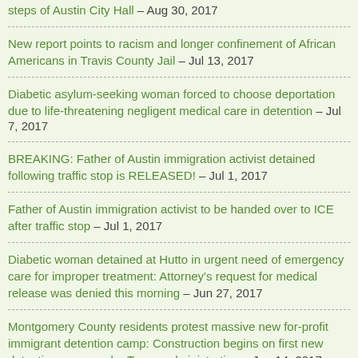steps of Austin City Hall – Aug 30, 2017
New report points to racism and longer confinement of African Americans in Travis County Jail – Jul 13, 2017
Diabetic asylum-seeking woman forced to choose deportation due to life-threatening negligent medical care in detention – Jul 7, 2017
BREAKING: Father of Austin immigration activist detained following traffic stop is RELEASED! – Jul 1, 2017
Father of Austin immigration activist to be handed over to ICE after traffic stop – Jul 1, 2017
Diabetic woman detained at Hutto in urgent need of emergency care for improper treatment: Attorney's request for medical release was denied this morning – Jun 27, 2017
Montgomery County residents protest massive new for-profit immigrant detention camp: Construction begins on first new detention camp under Trump administration – Jun 14, 2017
Private prison companies' scheme to license baby jails fails as Texas legislative session ends – May 29, 2017
Texas Senate passes bill to prolong detention of kids in baby jails – May 16, 2017